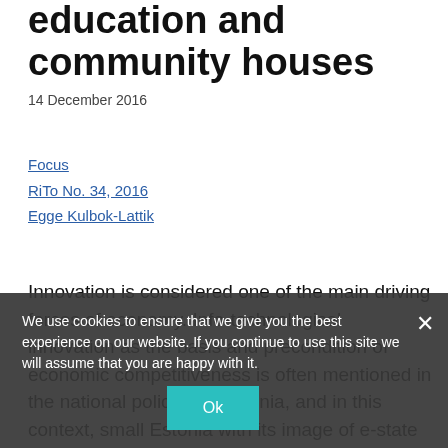education and community houses
14 December 2016
Focus
RiTo No. 34, 2016
Egge Kulbok-Lattik
Innovation is considered one of the main driving forces of economy. Info-technological innovation as the basis and precondition of economic competitiveness is often mentioned in the national policies of Estonia, and in this context, small Estonia with its image of e-state has gained recognition. But is this enough for making a society innovative? What is the innovativeness of a society based on? What role creativity and education play, and what the historical experience of the Estonian society is in this field – these are the questions this article tries to
We use cookies to ensure that we give you the best experience on our website. If you continue to use this site we will assume that you are happy with it.
Ok